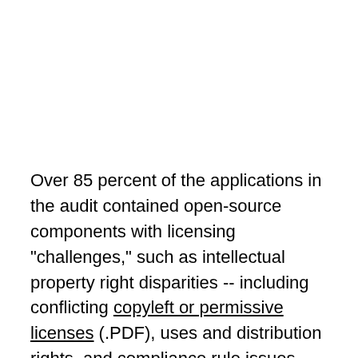Over 85 percent of the applications in the audit contained open-source components with licensing "challenges," such as intellectual property right disparities -- including conflicting copyleft or permissive licenses (.PDF), uses and distribution rights, and compliance rule issues, which are meant to protect the rights of the developers that have worked on the free components.